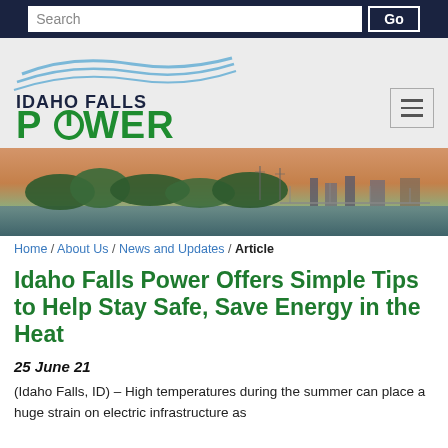Search  Go
[Figure (logo): Idaho Falls Power logo with blue wave lines above text 'IDAHO FALLS' in dark navy and 'POWER' in bold green with a power-button symbol replacing the O]
[Figure (photo): Aerial/riverside photo of Idaho Falls showing river, trees, city infrastructure and bridges at dusk/sunset]
Home / About Us / News and Updates / Article
Idaho Falls Power Offers Simple Tips to Help Stay Safe, Save Energy in the Heat
25 June 21
(Idaho Falls, ID) – High temperatures during the summer can place a huge strain on electric infrastructure as